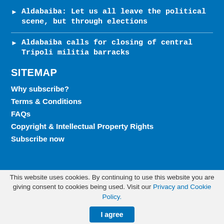Aldabaiba: Let us all leave the political scene, but through elections
Aldabaiba calls for closing of central Tripoli militia barracks
SITEMAP
Why subscribe?
Terms & Conditions
FAQs
Copyright & Intellectual Property Rights
Subscribe now
This website uses cookies. By continuing to use this website you are giving consent to cookies being used. Visit our Privacy and Cookie Policy.
I agree